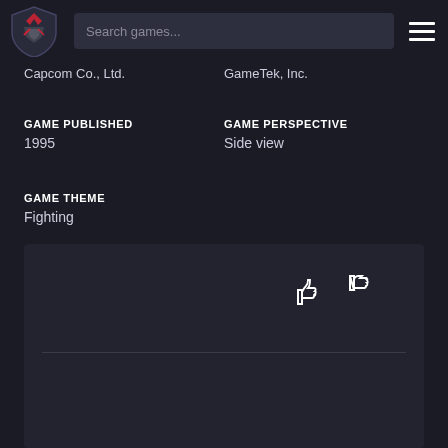Search games...
Capcom Co., Ltd.
GameTek, Inc.
GAME PUBLISHED
1995
GAME PERSPECTIVE
Side view
GAME THEME
Fighting
[Figure (other): Thumbs up and thumbs down icons for rating]